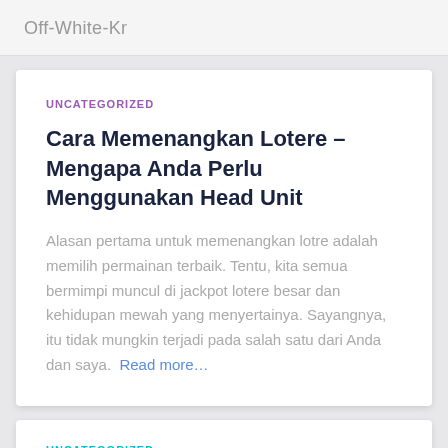Off-White-Kr
UNCATEGORIZED
Cara Memenangkan Lotere – Mengapa Anda Perlu Menggunakan Head Unit
Alasan pertama untuk memenangkan lotre adalah memilih permainan terbaik. Tentu, kita semua bermimpi muncul di jackpot lotere besar dan kehidupan mewah yang menyertainya. Sayangnya, itu tidak mungkin terjadi pada salah satu dari Anda dan saya. Read more…
UNCATEGORIZED